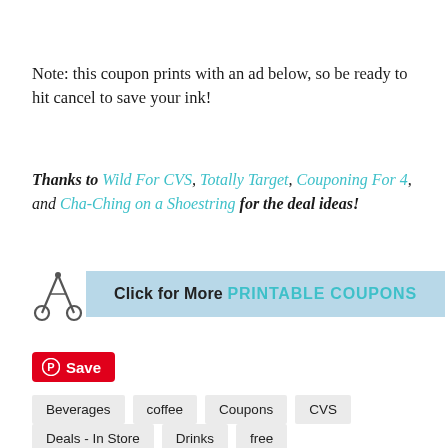Note: this coupon prints with an ad below, so be ready to hit cancel to save your ink!
Thanks to Wild For CVS, Totally Target, Couponing For 4, and Cha-Ching on a Shoestring for the deal ideas!
[Figure (other): Button with scissors icon: Click for More PRINTABLE COUPONS]
[Figure (other): Pinterest Save button in red]
Beverages
coffee
Coupons
CVS
Deals - In Store
Drinks
free
Free After Coupons
Freebies
Iced Coffee